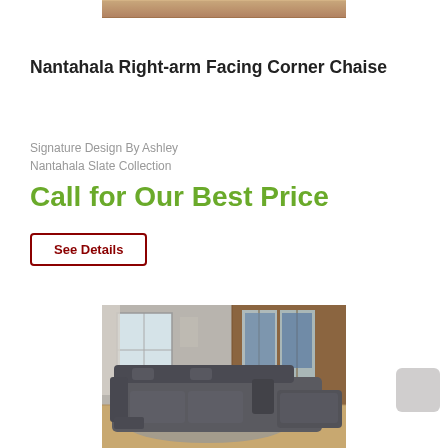[Figure (photo): Partial top of a sofa/chaise product image cropped at the top of the page]
Nantahala Right-arm Facing Corner Chaise
Signature Design By Ashley
Nantahala Slate Collection
Call for Our Best Price
See Details
[Figure (photo): Gray leather sectional reclining sofa in a living room with wood paneling and large windows]